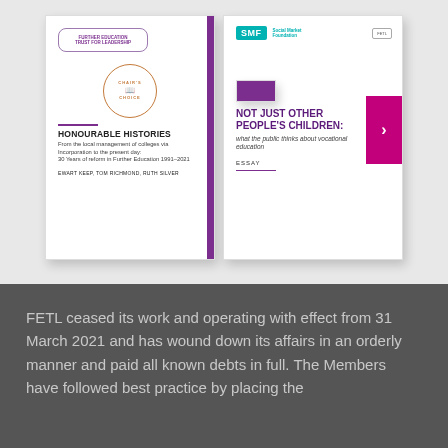[Figure (illustration): Two book/report covers displayed side by side on a light grey background. Left cover: 'Honourable Histories - From the local management of colleges via Incorporation to the present day: 30 Years of reform in Further Education 1991-2021' with a Chair's Choice badge and FETL logo, purple spine bar. Right cover: 'Not Just Other People's Children: what the public thinks about vocational education' with SMF logo, magenta arrow tab, labeled ESSAY.]
FETL ceased its work and operating with effect from 31 March 2021 and has wound down its affairs in an orderly manner and paid all known debts in full. The Members have followed best practice by placing the